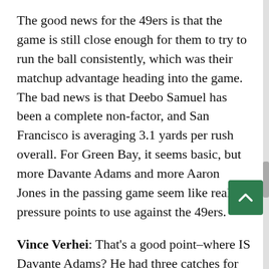The good news for the 49ers is that the game is still close enough for them to try to run the ball consistently, which was their matchup advantage heading into the game. The bad news is that Deebo Samuel has been a complete non-factor, and San Francisco is averaging 3.1 yards per rush overall. For Green Bay, it seems basic, but more Davante Adams and more Aaron Jones in the passing game seem like real pressure points to use against the 49ers.
Vince Verhei: That's a good point–where IS Davante Adams? He had three catches for 35 yards on the first drive, but only two for 15 since.
Bryan Knowles: The 49ers have been bracketing Adams pretty consistently since that first drive, with Jaquiski Tartt on permanent "help Dontae Johnson not make a fool of himself" duty. In fact,